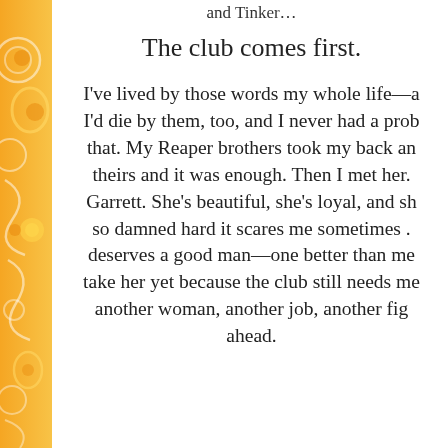and Tinker…
The club comes first.
I've lived by those words my whole life—a I'd die by them, too, and I never had a prob that. My Reaper brothers took my back an theirs and it was enough. Then I met her. Garrett. She's beautiful, she's loyal, and sh so damned hard it scares me sometimes . deserves a good man—one better than me take her yet because the club still needs me another woman, another job, another fig ahead.